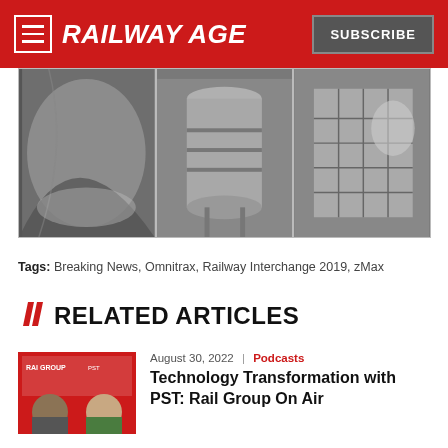RAILWAY AGE | SUBSCRIBE
[Figure (photo): Three-panel photo collage showing industrial/railway metal parts — left panel: curved metal surface with scratches, center panel: cylindrical metal component, right panel: metal component with grid/honeycomb pattern]
Tags: Breaking News, Omnitrax, Railway Interchange 2019, zMax
// RELATED ARTICLES
August 30, 2022 | Podcasts
Technology Transformation with PST: Rail Group On Air